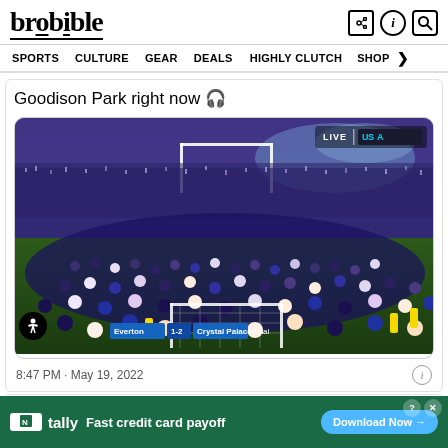brobible — SPORTS  CULTURE  GEAR  DEALS  HIGHLY CLUTCH  SHOP
Goodison Park right now 🎧
[Figure (screenshot): Screenshot of a live TV broadcast showing fans streaming onto the pitch at Goodison Park after Everton vs Crystal Palace match. Score overlay shows Everton 1-2 Crystal Palace, Final. LIVE USA Network logo in top right. Massive crowd of supporters on the pitch with blue smoke flares.]
8:47 PM · May 19, 2022
[Figure (other): Advertisement banner: Tally — Fast credit card payoff. Download Now button.]